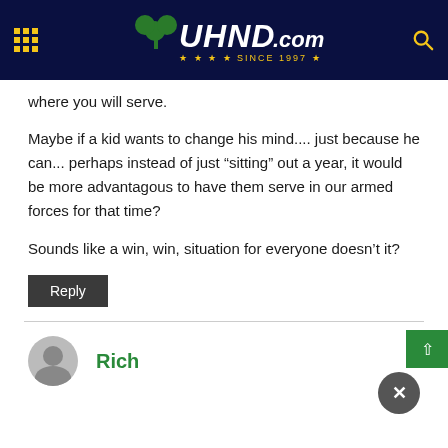[Figure (screenshot): UHND.com website header/navigation bar with dark navy background, shamrock logo, UHND.com site name in white italic bold text, 'SINCE 1997' in gold stars, grid menu icon on left, search icon on right]
where you will serve.
Maybe if a kid wants to change his mind.... just because he can... perhaps instead of just “sitting” out a year, it would be more advantagous to have them serve in our armed forces for that time?
Sounds like a win, win, situation for everyone doesn’t it?
Reply
Rich